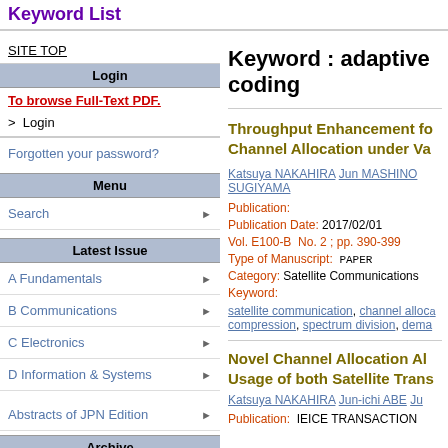Keyword List
SITE TOP
Login
To browse Full-Text PDF.
> Login
Forgotten your password?
Menu
Search
Latest Issue
A Fundamentals
B Communications
C Electronics
D Information & Systems
Abstracts of JPN Edition
Archive
Volume List
Keyword : adaptive coding
Throughput Enhancement for Channel Allocation under Va...
Katsuya NAKAHIRA  Jun MASHINO  SUGIYAMA
Publication:
Publication Date: 2017/02/01
Vol. E100-B  No. 2 ; pp. 390-399
Type of Manuscript:  PAPER
Category:  Satellite Communications
Keyword:
satellite communication, channel alloca..., compression, spectrum division, dema...
Novel Channel Allocation Al... Usage of both Satellite Trans...
Katsuya NAKAHIRA  Jun-ichi ABE  Ju...
Publication:  IEICE TRANSACTION...